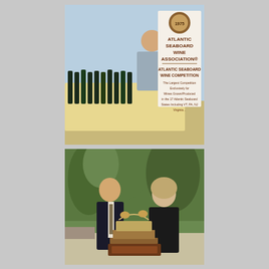[Figure (photo): A man in a grey polo shirt standing behind a table with many wine bottles lined up, at what appears to be a wine event or conference. To his right is a banner reading 'Atlantic Seaboard Wine Association® Atlantic Seaboard Wine Competition - The Largest Competition Exclusively for Wines Grown/Produced in the 17 Atlantic Seaboard States including VT, PA, NJ... Virginia...']
[Figure (photo): A man in a dark suit with a tie and a woman in a black patterned blouse standing outdoors in front of trees, with an ornate trophy/award on a wooden base in the foreground.]